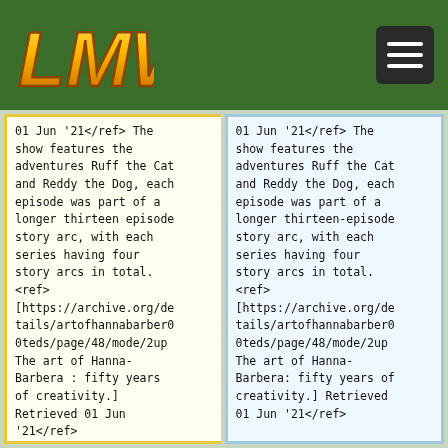LMW logo and hamburger menu
01 Jun '21</ref> The show features the adventures Ruff the Cat and Reddy the Dog, each episode was part of a longer thirteen episode story arc, with each series having four story arcs in total. <ref> [https://archive.org/details/artofhannabarber00teds/page/48/mode/2up The art of Hanna-Barbera : fifty years of creativity.] Retrieved 01 Jun '21</ref>
01 Jun '21</ref> The show features the adventures Ruff the Cat and Reddy the Dog, each episode was part of a longer thirteen-episode story arc, with each series having four story arcs in total. <ref> [https://archive.org/details/artofhannabarber00teds/page/48/mode/2up The art of Hanna-Barbera: fifty years of creativity.] Retrieved 01 Jun '21</ref>